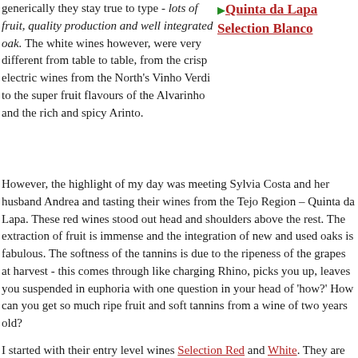generically they stay true to type - lots of fruit, quality production and well integrated oak. The white wines however, were very different from table to table, from the crisp electric wines from the North's Vinho Verdi to the super fruit flavours of the Alvarinho and the rich and spicy Arinto.
Quinta da Lapa Selection Blanco
However, the highlight of my day was meeting Sylvia Costa and her husband Andrea and tasting their wines from the Tejo Region – Quinta da Lapa. These red wines stood out head and shoulders above the rest. The extraction of fruit is immense and the integration of new and used oaks is fabulous. The softness of the tannins is due to the ripeness of the grapes at harvest - this comes through like charging Rhino, picks you up, leaves you suspended in euphoria with one question in your head of 'how?' How can you get so much ripe fruit and soft tannins from a wine of two years old?
I started with their entry level wines Selection Red and White. They are